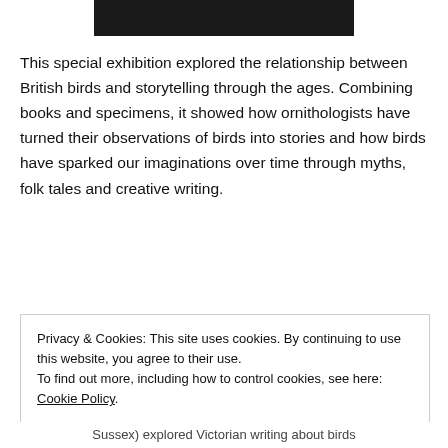[Figure (photo): Dark/black image strip at the top of the page]
This special exhibition explored the relationship between British birds and storytelling through the ages. Combining books and specimens, it showed how ornithologists have turned their observations of birds into stories and how birds have sparked our imaginations over time through myths, folk tales and creative writing.
Privacy & Cookies: This site uses cookies. By continuing to use this website, you agree to their use. To find out more, including how to control cookies, see here: Cookie Policy
Close and accept
Sussex) explored Victorian writing about birds